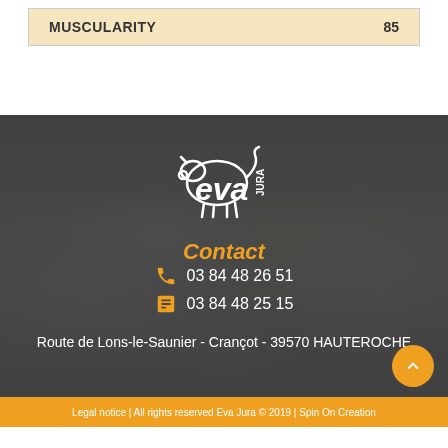| MUSCULARITY | 85 |
[Figure (photo): Group photo of many people outdoors, shown in grayscale/dark overlay, with Eva Jura logo overlaid]
Contact
03 84 48 26 51
03 84 48 25 15
Route de Lons-le-Saunier - Crançot - 39570 HAUTEROCHE
Legal notice | All rights reserved Eva Jura © 2019 | Spin On Creation